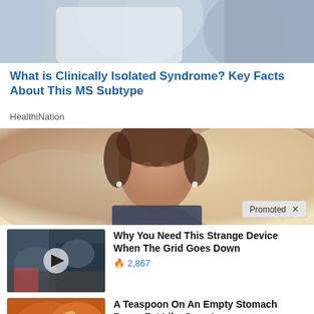[Figure (photo): Partial view of a doctor or medical professional in white coat, cropped at top]
What is Clinically Isolated Syndrome? Key Facts About This MS Subtype
HealthiNation
[Figure (photo): Young woman with earbuds looking upward, outdoor blurry background, with a Promoted X badge in bottom right]
[Figure (photo): Street scene with cars, video play button overlay thumbnail]
Why You Need This Strange Device When The Grid Goes Down
🔥 2,867
[Figure (photo): Spices/food with muscular person, reddish-orange tones thumbnail]
A Teaspoon On An Empty Stomach Burns Fat Like Crazy!
🔥 140,147